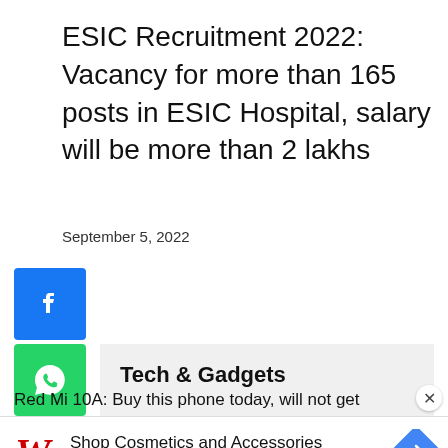ESIC Recruitment 2022: Vacancy for more than 165 posts in ESIC Hospital, salary will be more than 2 lakhs
September 5, 2022
[Figure (screenshot): Social media share buttons: Facebook (blue), WhatsApp (green), Twitter (light blue), Pinterest (red)]
Tech & Gadgets
Red Mi 10A: Buy this phone today, will not get
Shop Cosmetics and Accessories Walgreens Photo